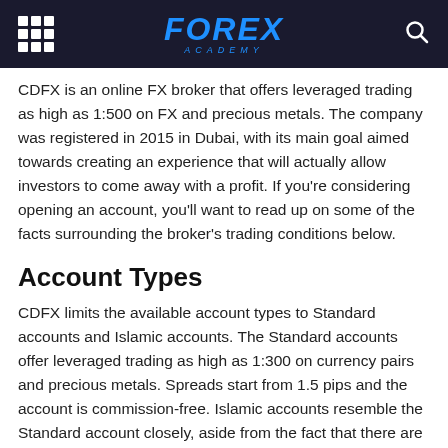FOREX ACADEMY
CDFX is an online FX broker that offers leveraged trading as high as 1:500 on FX and precious metals. The company was registered in 2015 in Dubai, with its main goal aimed towards creating an experience that will actually allow investors to come away with a profit. If you're considering opening an account, you'll want to read up on some of the facts surrounding the broker's trading conditions below.
Account Types
CDFX limits the available account types to Standard accounts and Islamic accounts. The Standard accounts offer leveraged trading as high as 1:300 on currency pairs and precious metals. Spreads start from 1.5 pips and the account is commission-free. Islamic accounts resemble the Standard account closely, aside from the fact that there are no overnight charges on positons and leverage options go up to 1:500. Note that the broker would require proof of Islamic religion